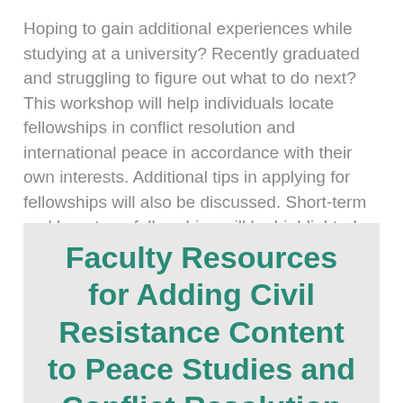Hoping to gain additional experiences while studying at a university? Recently graduated and struggling to figure out what to do next? This workshop will help individuals locate fellowships in conflict resolution and international peace in accordance with their own interests. Additional tips in applying for fellowships will also be discussed. Short-term and long-term fellowships will be highlighted, along with several essential websites to search for additional opportunities.
Faculty Resources for Adding Civil Resistance Content to Peace Studies and Conflict Resolution